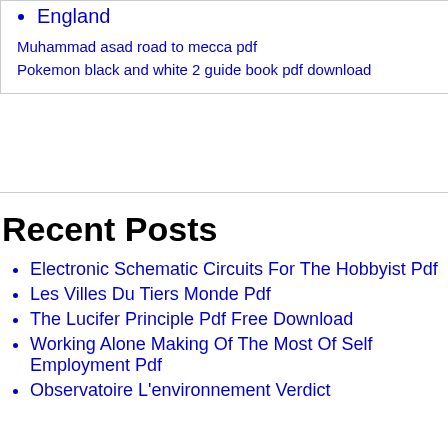England
Muhammad asad road to mecca pdf
Pokemon black and white 2 guide book pdf download
Recent Posts
Electronic Schematic Circuits For The Hobbyist Pdf
Les Villes Du Tiers Monde Pdf
The Lucifer Principle Pdf Free Download
Working Alone Making Of The Most Of Self Employment Pdf
Observatoire L'environnement Verdict